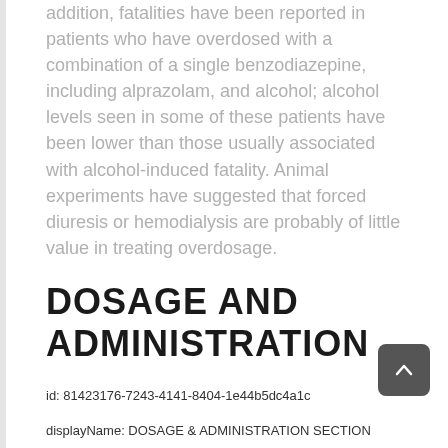addition, fatalities have been reported in patients who have overdosed with a combination of a single benzodiazepine, including alprazolam, and alcohol; alcohol levels seen in some of these patients have been lower than those usually associated with alcohol-induced fatality. Animal experiments have suggested that forced diuresis or hemodialysis are probably of little value in treating overdosage.
DOSAGE AND ADMINISTRATION
id: 81423176-7243-4141-8404-1e44b5dc4a1c
displayName: DOSAGE & ADMINISTRATION SECTION
FDA Article Code: 34068-7
Alprazolam extended-release tablets may be